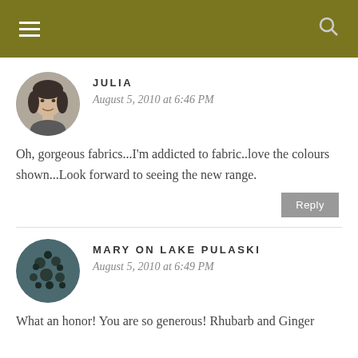JULIA
August 5, 2010 at 6:46 PM
Oh, gorgeous fabrics...I'm addicted to fabric..love the colours shown...Look forward to seeing the new range.
Reply
MARY ON LAKE PULASKI
August 5, 2010 at 6:49 PM
What an honor! You are so generous! Rhubarb and Ginger